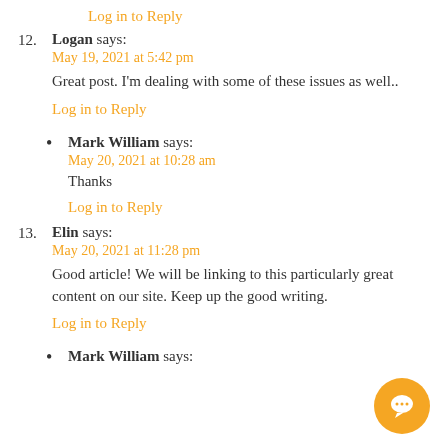Log in to Reply
12. Logan says:
May 19, 2021 at 5:42 pm
Great post. I'm dealing with some of these issues as well..
Log in to Reply
Mark William says:
May 20, 2021 at 10:28 am
Thanks
Log in to Reply
13. Elin says:
May 20, 2021 at 11:28 pm
Good article! We will be linking to this particularly great content on our site. Keep up the good writing.
Log in to Reply
Mark William says: